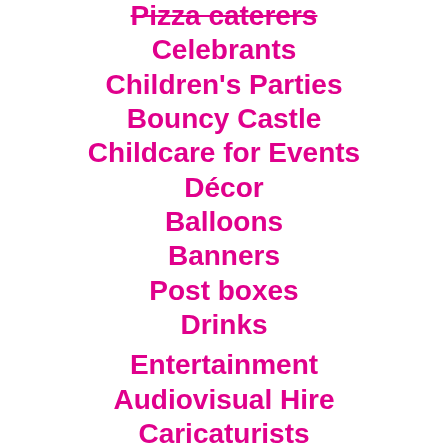Pizza caterers
Celebrants
Children's Parties
Bouncy Castle
Childcare for Events
Décor
Balloons
Banners
Post boxes
Drinks
Entertainment
Audiovisual Hire
Caricaturists